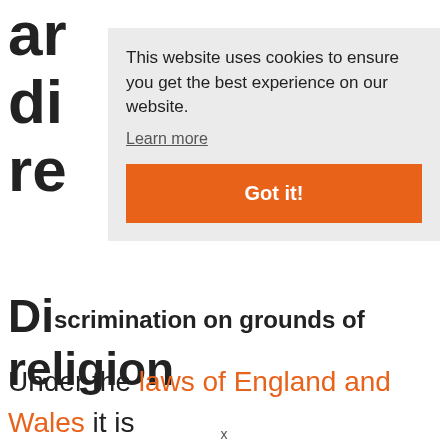ar
di
re
This website uses cookies to ensure you get the best experience on our website.
Learn more
Got it!
Discrimination on grounds of religion
Under the laws of England and Wales it is unlawful for an employer to discriminate on the